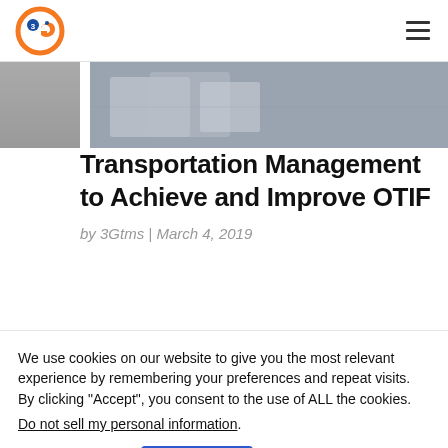3Gtms logo and navigation
[Figure (photo): Partial view of a transportation/logistics image showing what appears to be documents or cargo, grey toned]
Transportation Management to Achieve and Improve OTIF
by 3Gtms | March 4, 2019
We use cookies on our website to give you the most relevant experience by remembering your preferences and repeat visits. By clicking "Accept", you consent to the use of ALL the cookies.
Do not sell my personal information.
Cookie settings  Accept